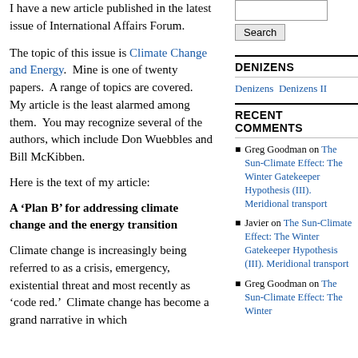I have a new article published in the latest issue of International Affairs Forum.
The topic of this issue is Climate Change and Energy.  Mine is one of twenty papers.  A range of topics are covered.  My article is the least alarmed among them.  You may recognize several of the authors, which include Don Wuebbles and Bill McKibben.
Here is the text of my article:
A ‘Plan B’ for addressing climate change and the energy transition
Climate change is increasingly being referred to as a crisis, emergency, existential threat and most recently as ‘code red.’  Climate change has become a grand narrative in which
DENIZENS
Denizens  Denizens II
RECENT COMMENTS
Greg Goodman on The Sun-Climate Effect: The Winter Gatekeeper Hypothesis (III). Meridional transport
Javier on The Sun-Climate Effect: The Winter Gatekeeper Hypothesis (III). Meridional transport
Greg Goodman on The Sun-Climate Effect: The Winter